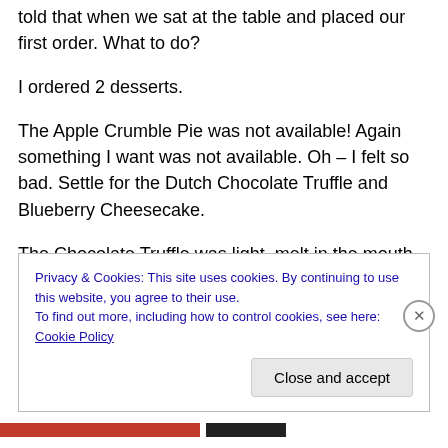told that when we sat at the table and placed our first order. What to do?
I ordered 2 desserts.
The Apple Crumble Pie was not available! Again something I want was not available. Oh – I felt so bad. Settle for the Dutch Chocolate Truffle and Blueberry Cheesecake.
The Chocolate Truffle was light, melt in the mouth and a thorough delight. The Blueberry Cheesecake was good.
Privacy & Cookies: This site uses cookies. By continuing to use this website, you agree to their use.
To find out more, including how to control cookies, see here: Cookie Policy
Close and accept